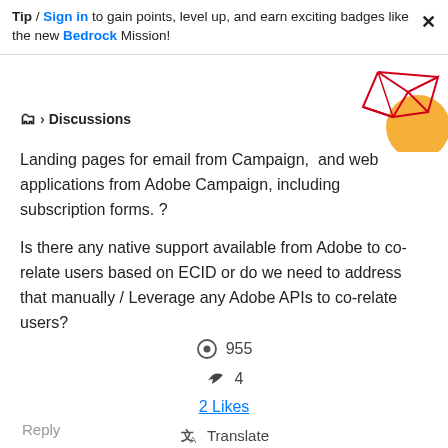Tip / Sign in to gain points, level up, and earn exciting badges like the new Bedrock Mission!
Discussions
Landing pages for email from Campaign, and web applications from Adobe Campaign, including subscription forms. ?
Is there any native support available from Adobe to co-relate users based on ECID or do we need to address that manually / Leverage any Adobe APIs to co-relate users?
955
4
2 Likes
Translate
Reply